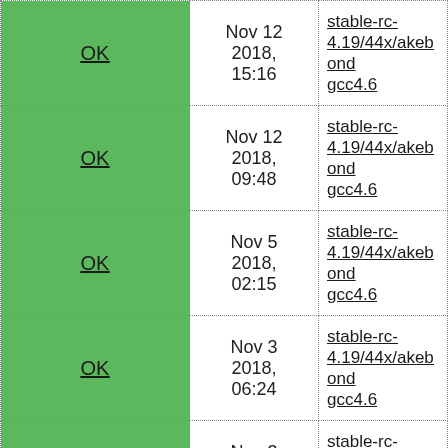| Status | Date | Branch |
| --- | --- | --- |
| OK | Nov 12 2018, 15:16 | stable-rc-4.19/44x/akebono gcc4.6 |
| OK | Nov 12 2018, 09:48 | stable-rc-4.19/44x/akebono gcc4.6 |
| OK | Nov 5 2018, 02:15 | stable-rc-4.19/44x/akebono gcc4.6 |
| OK | Nov 3 2018, 06:24 | stable-rc-4.19/44x/akebono gcc4.6 |
| OK | Nov 3 2018, 01:03 | stable-rc-4.19/44x/akebono gcc4.6 |
| OK | Nov 2 2018, 01:40 | stable-rc-4.19/44x/akebono gcc4.6 |